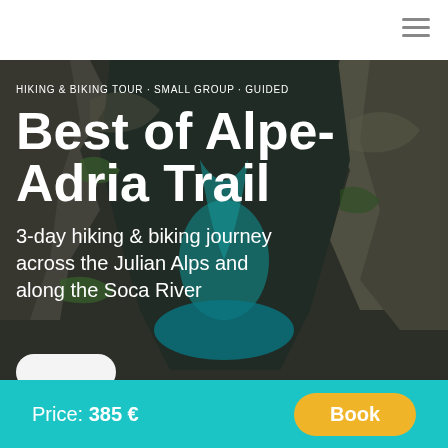Navigation bar with hamburger menu
HIKING & BIKING TOUR · SMALL GROUP · GUIDED
Best of Alpe-Adria Trail
3-day hiking & biking journey across the Julian Alps and along the Soca River
Price: 385 €
Book